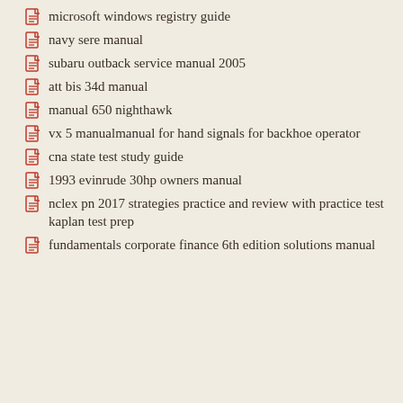microsoft windows registry guide
navy sere manual
subaru outback service manual 2005
att bis 34d manual
manual 650 nighthawk
vx 5 manualmanual for hand signals for backhoe operator
cna state test study guide
1993 evinrude 30hp owners manual
nclex pn 2017 strategies practice and review with practice test kaplan test prep
fundamentals corporate finance 6th edition solutions manual